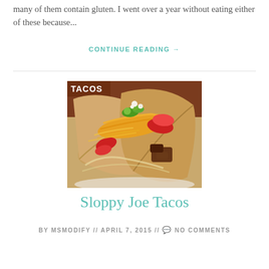many of them contain gluten. I went over a year without eating either of these because...
CONTINUE READING →
[Figure (photo): Close-up photo of two tacos filled with meat, shredded cheese, red peppers, green onions, and other colorful toppings on a white plate. Text 'TACOS' visible in upper left corner.]
Sloppy Joe Tacos
BY MSMODIFY // APRIL 7, 2015 // 💬 NO COMMENTS